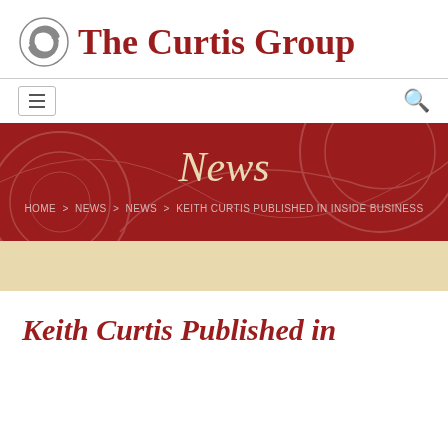The Curtis Group
[Figure (logo): The Curtis Group logo with circular arrow icon and red text]
HOME > NEWS > NEWS > KEITH CURTIS PUBLISHED IN INSIDE BUSINESS
News
Keith Curtis Published in